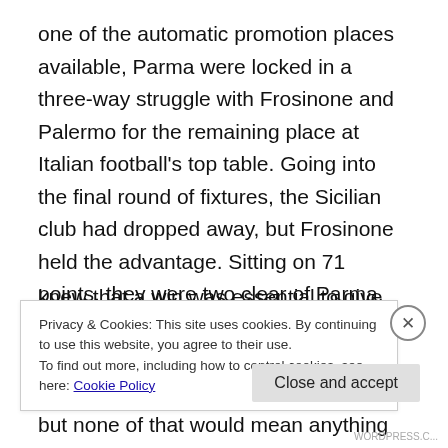one of the automatic promotion places available, Parma were locked in a three-way struggle with Frosinone and Palermo for the remaining place at Italian football's top table. Going into the final round of fixtures, the Sicilian club had dropped away, but Frosinone held the advantage. Sitting on 71 points, they were two clear of Parma, with a home game against Foggia to play. Parma had a better head-to-head record and a goal difference advantage, but none of that would mean anything unless the points gap could be eliminated. Parma were away to Spezia and
knew that a win was essential to give them any chance of
Privacy & Cookies: This site uses cookies. By continuing to use this website, you agree to their use.
To find out more, including how to control cookies, see here: Cookie Policy
Close and accept